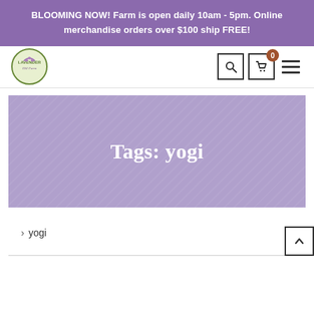BLOOMING NOW! Farm is open daily 10am - 5pm. Online merchandise orders over $100 ship FREE!
[Figure (logo): Lavender Hill Farm circular logo with lavender illustration]
Tags: yogi
› yogi